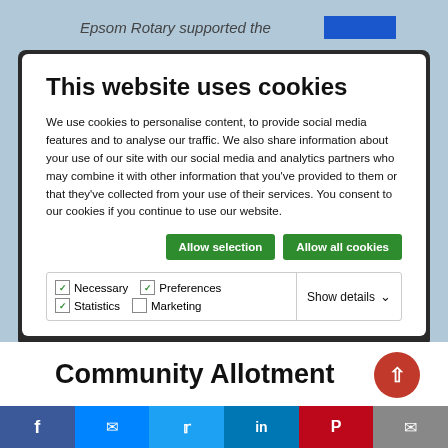Epsom Rotary supported the
This website uses cookies
We use cookies to personalise content, to provide social media features and to analyse our traffic. We also share information about your use of our site with our social media and analytics partners who may combine it with other information that you've provided to them or that they've collected from your use of their services. You consent to our cookies if you continue to use our website.
Allow selection
Allow all cookies
Necessary   Preferences   Statistics   Marketing   Show details
Community Allotment